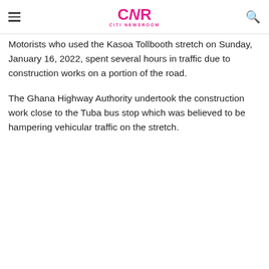CNR CITI NEWSROOM
Motorists who used the Kasoa Tollbooth stretch on Sunday, January 16, 2022, spent several hours in traffic due to construction works on a portion of the road.
The Ghana Highway Authority undertook the construction work close to the Tuba bus stop which was believed to be hampering vehicular traffic on the stretch.